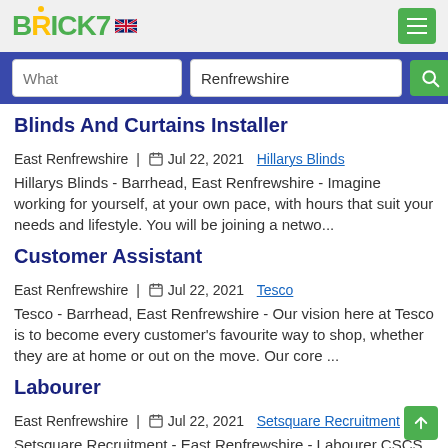BRICK7
Blinds And Curtains Installer
East Renfrewshire | Jul 22, 2021 Hillarys Blinds
Hillarys Blinds - Barrhead, East Renfrewshire - Imagine working for yourself, at your own pace, with hours that suit your needs and lifestyle. You will be joining a netwo...
Customer Assistant
East Renfrewshire | Jul 22, 2021 Tesco
Tesco - Barrhead, East Renfrewshire - Our vision here at Tesco is to become every customer's favourite way to shop, whether they are at home or out on the move. Our core ...
Labourer
East Renfrewshire | Jul 22, 2021 Setsquare Recruitment
Setsquare Recruitment - East Renfrewshire - Labourer CSCS Required East Renfrewshire £11.50-12.50 p/h We have an upcoming